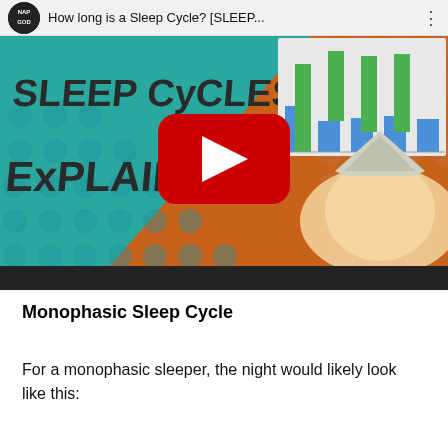[Figure (screenshot): YouTube video embed showing 'How long is a Sleep Cycle? [SLEEP...]' by Nap God channel. Thumbnail shows colorful graphic with 'SLEEP CYCLES EXPLAINED' text, a person wearing a foil hat, and a bar chart in the upper right. Red YouTube play button in center. Black progress bar at bottom.]
Monophasic Sleep Cycle
For a monophasic sleeper, the night would likely look like this: